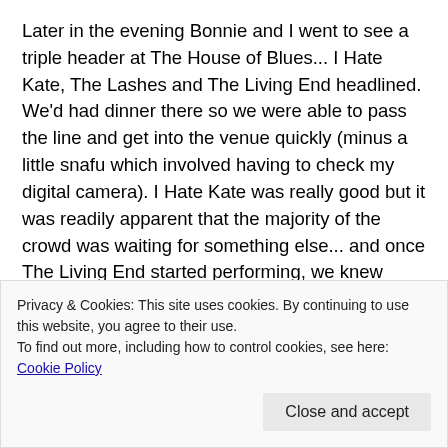Later in the evening Bonnie and I went to see a triple header at The House of Blues... I Hate Kate, The Lashes and The Living End headlined. We'd had dinner there so we were able to pass the line and get into the venue quickly (minus a little snafu which involved having to check my digital camera). I Hate Kate was really good but it was readily apparent that the majority of the crowd was waiting for something else... and once The Living End started performing, we knew what they had been waiting for. What a fantastic performance (not to mention enthusiastic crowd)! We got back to the bungalow shortly after midnight, to Kiko who I'd hired to watch Gabriel while we were out. She was delighted by his good behavior and it seemed that it had been a fun evening for them also.
Privacy & Cookies: This site uses cookies. By continuing to use this website, you agree to their use.
To find out more, including how to control cookies, see here: Cookie Policy